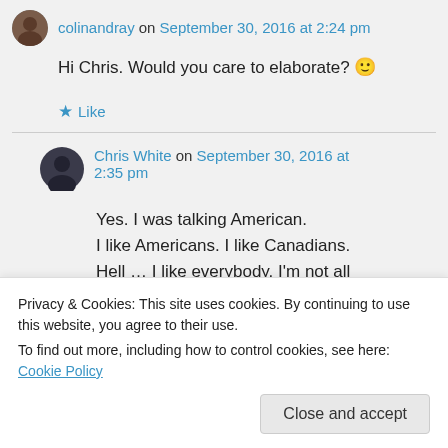colinandray on September 30, 2016 at 2:24 pm
Hi Chris. Would you care to elaborate? 🙂
Like
Chris White on September 30, 2016 at 2:35 pm
Yes. I was talking American.
I like Americans. I like Canadians.
Hell … I like everybody. I'm not all
Privacy & Cookies: This site uses cookies. By continuing to use this website, you agree to their use.
To find out more, including how to control cookies, see here: Cookie Policy
Close and accept